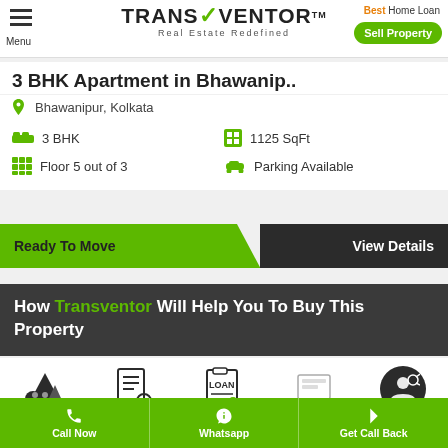Menu | TRANSVENTOR™ Real Estate Redefined | Best Home Loan | Sell Property
3 BHK Apartment in Bhawanip..
Bhawanipur, Kolkata
3 BHK
1125 SqFt
Floor 5 out of 3
Parking Available
Ready To Move
View Details
How Transventor Will Help You To Buy This Property
Free Site Visit
Legal Support
Homeloan Support
Branding Tools Documentation
NRI Support
Call Now | Whatsapp | Get Call Back